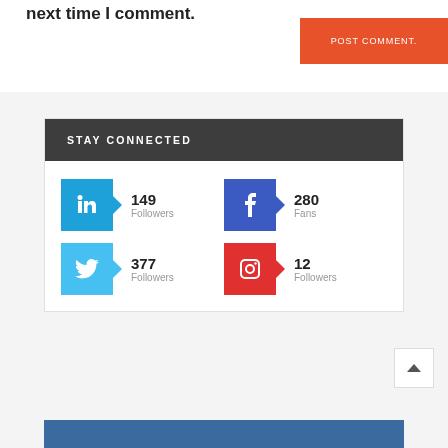next time I comment.
POST COMMENT.
STAY CONNECTED
149 Followers (LinkedIn)
280 Fans (Facebook)
377 Followers (Twitter)
12 Followers (Instagram)